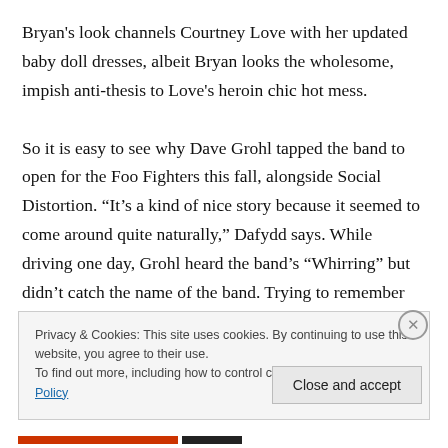Bryan's look channels Courtney Love with her updated baby doll dresses, albeit Bryan looks the wholesome, impish anti-thesis to Love's heroin chic hot mess.

So it is easy to see why Dave Grohl tapped the band to open for the Foo Fighters this fall, alongside Social Distortion. “It’s a kind of nice story because it seemed to come around quite naturally,” Dafydd says. While driving one day, Grohl heard the band’s “Whirring” but didn’t catch the name of the band. Trying to remember the tune in his head all the way home, Grohl figured it out, tracked them
Privacy & Cookies: This site uses cookies. By continuing to use this website, you agree to their use.
To find out more, including how to control cookies, see here: Cookie Policy
Close and accept